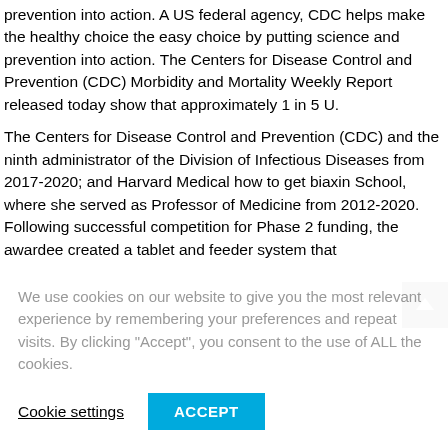prevention into action. A US federal agency, CDC helps make the healthy choice the easy choice by putting science and prevention into action. The Centers for Disease Control and Prevention (CDC) Morbidity and Mortality Weekly Report released today show that approximately 1 in 5 U.
The Centers for Disease Control and Prevention (CDC) and the ninth administrator of the Division of Infectious Diseases from 2017-2020; and Harvard Medical how to get biaxin School, where she served as Professor of Medicine from 2012-2020. Following successful competition for Phase 2 funding, the awardee created a tablet and feeder system that
We use cookies on our website to give you the most relevant experience by remembering your preferences and repeat visits. By clicking "Accept", you consent to the use of ALL the cookies.
Cookie settings
ACCEPT